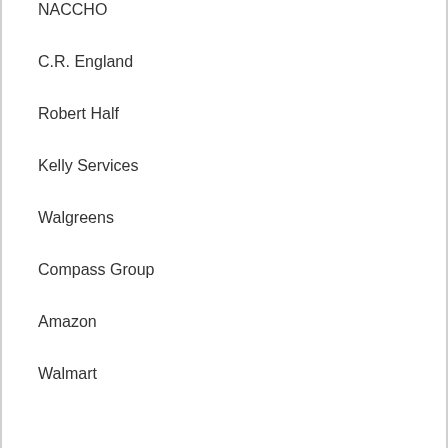NACCHO
C.R. England
Robert Half
Kelly Services
Walgreens
Compass Group
Amazon
Walmart
Google
Costco
Kaiser Permanente
UPA
FedEx
UPS
Allied Universal
USPS